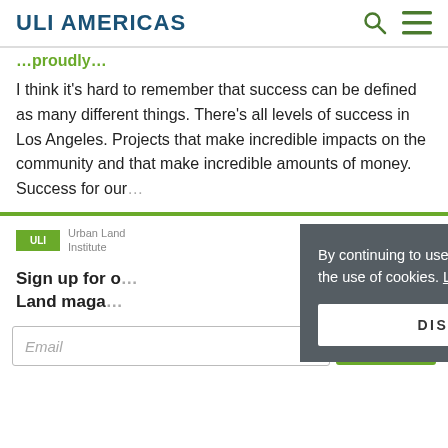ULI AMERICAS
I think it's hard to remember that success can be defined as many different things. There's all levels of success in Los Angeles. Projects that make incredible impacts on the community and that make incredible amounts of money. Success for our…
[Figure (screenshot): Cookie consent overlay with dark gray background reading: By continuing to use the site, you agree to the use of cookies. Learn more. With a white DISMISS button.]
[Figure (logo): Urban Land Institute (ULI) logo with green icon and gray text]
Sign up for our newsletters, including Land maga…
Email
SIGN UP